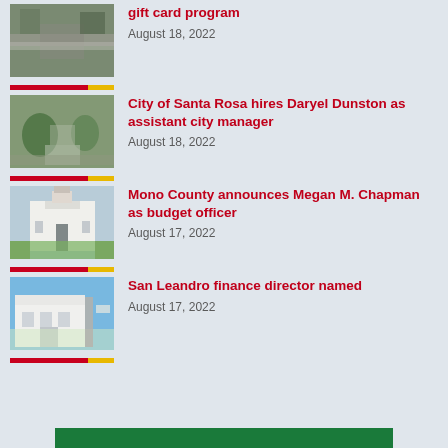[Figure (photo): Aerial road/street view photo with red and yellow bar at bottom]
gift card program
August 18, 2022
[Figure (photo): Aerial park/intersection view photo with red and yellow bar at bottom]
City of Santa Rosa hires Daryel Dunston as assistant city manager
August 18, 2022
[Figure (photo): White government building/courthouse photo with red and yellow bar at bottom]
Mono County announces Megan M. Chapman as budget officer
August 17, 2022
[Figure (photo): White modern building with trees photo with red and yellow bar at bottom]
San Leandro finance director named
August 17, 2022